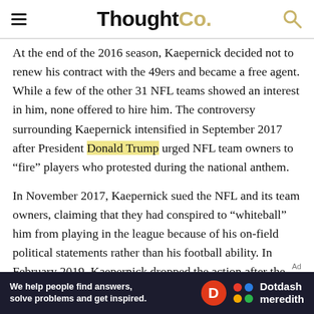ThoughtCo.
At the end of the 2016 season, Kaepernick decided not to renew his contract with the 49ers and became a free agent. While a few of the other 31 NFL teams showed an interest in him, none offered to hire him. The controversy surrounding Kaepernick intensified in September 2017 after President Donald Trump urged NFL team owners to “fire” players who protested during the national anthem.
In November 2017, Kaepernick sued the NFL and its team owners, claiming that they had conspired to “whiteball” him from playing in the league because of his on-field political statements rather than his football ability. In February 2019, Kaepernick dropped the action after the NFL agreed to pay him an undisclosed amount of money in a settlement.
[Figure (infographic): Dotdash Meredith advertisement banner: dark navy background. Left side shows text 'We help people find answers, solve problems and get inspired.' Right side shows a red circle with 'D', a colorful dots logo, and text 'Dotdash meredith'.]